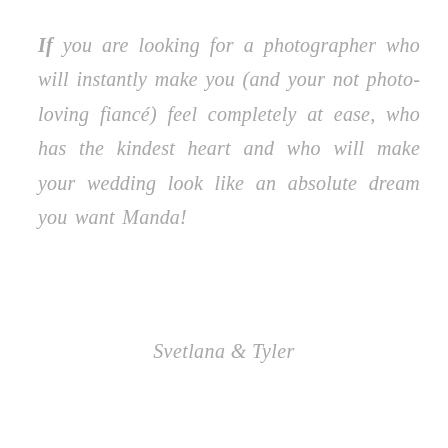If you are looking for a photographer who will instantly make you (and your not photo-loving fiancé) feel completely at ease, who has the kindest heart and who will make your wedding look like an absolute dream you want Manda!
Svetlana & Tyler